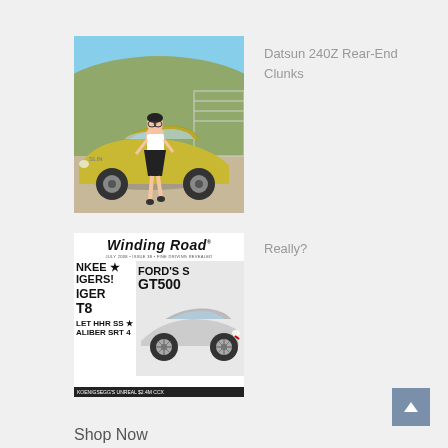[Figure (photo): Woman in white top and black skirt standing in front of a yellow Datsun 240Z sports car outdoors]
Datsun 240Z Rear-End Clunks
[Figure (photo): Winding Road magazine cover featuring a Ford Shelby GT500 and headlines including YANKEE, TIGERS, CHARGER T8, CHEVY HHR SS, DODGE CALIBER SRT 4, and KOENIGSEGG'S UNREAL $2.4M CCX]
Really?
Shop Now